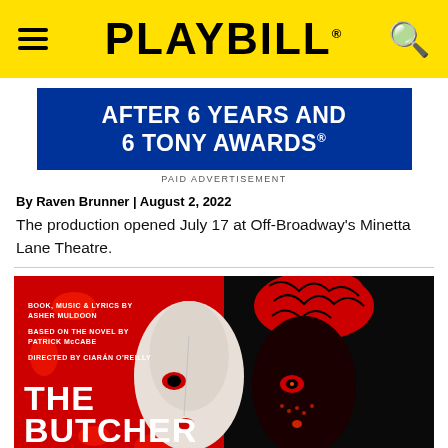PLAYBILL
[Figure (other): Advertisement banner: AFTER 6 YEARS AND 6 TONY AWARDS® on blue background. PAID ADVERTISEMENT label below.]
By Raven Brunner | August 2, 2022
The production opened July 17 at Off-Broadway's Minetta Lane Theatre.
[Figure (illustration): Theatrical poster for The Butcher Boy. Split face illustration — left half white mask on red splatter background, right half stylized red on black. Text: BOOK, MUSIC & LYRICS BY ASHER MULDOON / BASED ON THE NOVEL BY PATRICK McCABE / DIRECTED BY CIARÁN O'REILLY / THE BUTCHER BOY]